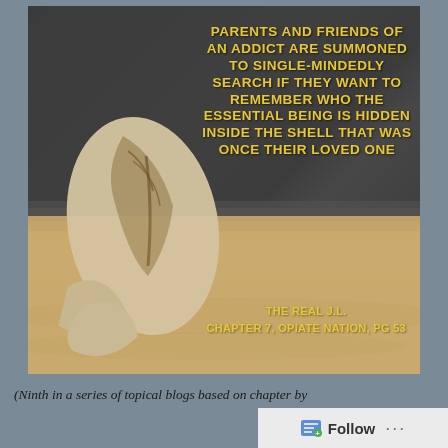[Figure (photo): Photo of a broken seashell on sand with dark rocks in background. Overlaid with yellow bold text quote about parents and friends of an addict. Attribution reads: THE REAL J.L. CHAPTER 7, OPIATE NATION, PG 53]
(Ninth in a series of topical blogs based on chapter by